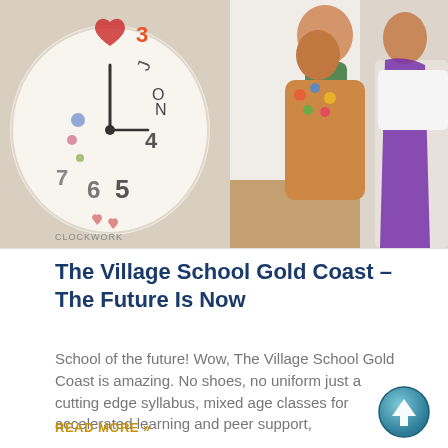[Figure (photo): Photo showing a handmade clock on the left side with numbers and decorations, and a woman holding a baby with another person on the right side]
The Village School Gold Coast – The Future Is Now
School of the future! Wow, The Village School Gold Coast is amazing. No shoes, no uniform just a cutting edge syllabus, mixed age classes for accelerated learning and peer support,
READ MORE »